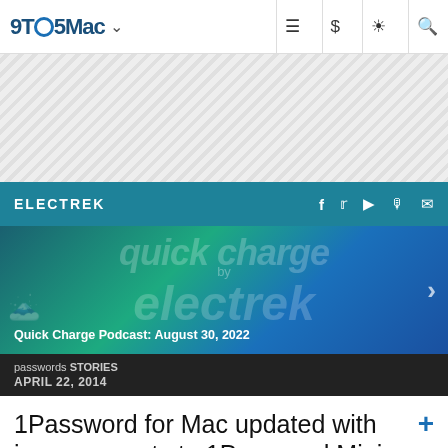9TO5Mac
[Figure (other): Ad placeholder area with diagonal hatching pattern]
ELECTREK
[Figure (photo): Electrek Quick Charge Podcast feature image with wind turbines and electrek branding on blue-green gradient background. Title: Quick Charge Podcast: August 30, 2022]
passwords STORIES
APRIL 22, 2014
1Password for Mac updated with improvements to 1Password Mini, better URL matching, and more
Mike Beasley - Apr. 22nd 2014 6:00 am PT